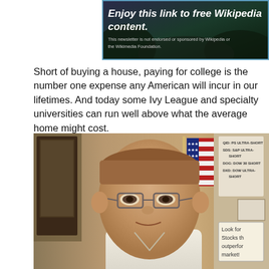[Figure (photo): Banner with dark background showing text 'Enjoy this link to free Wikipedia content.' with a disclaimer below reading 'This newsletter is not endorsed or sponsored by Wikipedia or the Wikimedia Foundation.']
Short of buying a house, paying for college is the number one expense any American will incur in our lifetimes. And today some Ivy League and specialty universities can run well above what the average home might cost.
[Figure (photo): Photo of a middle-aged man with glasses wearing a white dress shirt, seated in an office with an American flag, framed pictures on the wall, and financial posters visible in the background. A sign reads 'Look for Stocks that outperform the market!']